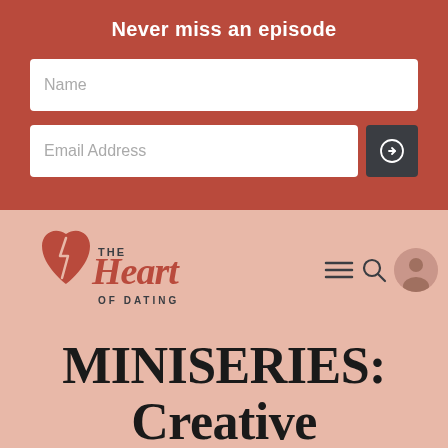Never miss an episode
[Figure (screenshot): Email signup form with Name field and Email Address field with submit arrow button]
[Figure (logo): The Heart of Dating podcast logo - stylized heart with script text]
MINISERIES: Creative Ways To Date in